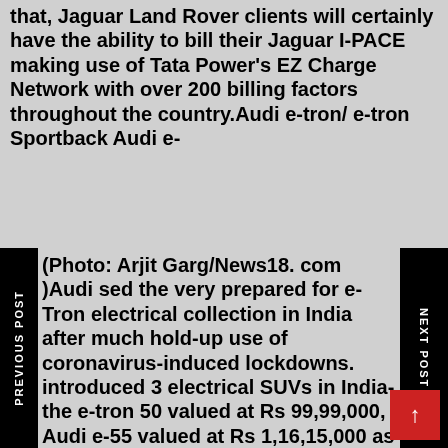that, Jaguar Land Rover clients will certainly have the ability to bill their Jaguar I-PACE making use of Tata Power's EZ Charge Network with over 200 billing factors throughout the country.Audi e-tron/ e-tron Sportback Audi e-(Photo: Arjit Garg/News18. com )Audi sed the very prepared for e-Tron electrical collection in India after much hold-up use of coronavirus-induced lockdowns. introduced 3 electrical SUVs in India-the e-tron 50 valued at Rs 99,99,000, Audi e-55 valued at Rs 1,16,15,000 as well as Audi e-tron Sportback 55 valued at Rs 1,17,66,000. Variety sensible, the e-tron 55 and also e-tron 55 Sportback function a larger 95kWh lithium-ion battery that allows a 359-484km array(WLTP)while the e-tron 50 includes a 71kWh